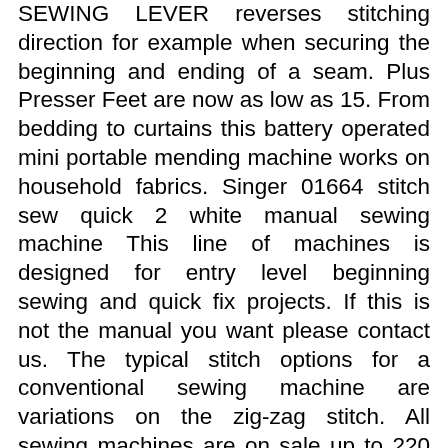SEWING LEVER reverses stitching direction for example when securing the beginning and ending of a seam. Plus Presser Feet are now as low as 15. From bedding to curtains this battery operated mini portable mending machine works on household fabrics. Singer 01664 stitch sew quick 2 white manual sewing machine This line of machines is designed for entry level beginning sewing and quick fix projects. If this is not the manual you want please contact us. The typical stitch options for a conventional sewing machine are variations on the zig-zag stitch. All sewing machines are on sale up to 220 Off. Standard shipping is FREE and low sale prices prevail while supplies last. Read Online Singer Stitch Sew Quick Manual First Time SewingThe Ladies Book of Etiquette and Manual of PolitenessBuying a New Sewing MachineFabric ManipulationSinger Sewing BookPucker Free SeamsThe Sewing BibleThe Complete Book of